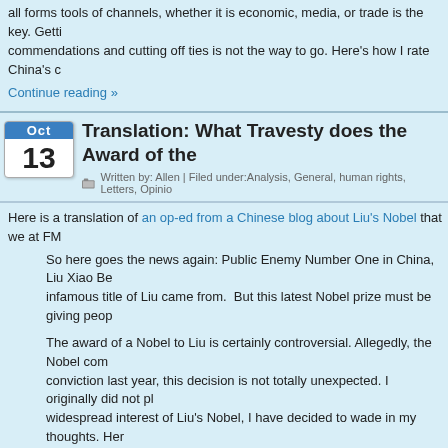all forms tools of channels, whether it is economic, media, or trade is the key. Getting commendations and cutting off ties is not the way to go. Here's how I rate China's c
Continue reading »
Translation: What Travesty does the Award of the
Written by: Allen | Filed under:Analysis, General, human rights, Letters, Opinio
Here is a translation of an op-ed from a Chinese blog about Liu's Nobel that we at FM
So here goes the news again: Public Enemy Number One in China, Liu Xiao Be infamous title of Liu came from. But this latest Nobel prize must be giving peop
The award of a Nobel to Liu is certainly controversial. Allegedly, the Nobel com conviction last year, this decision is not totally unexpected. I originally did not pl widespread interest of Liu's Nobel, I have decided to wade in my thoughts. Her
Continue reading »
minipost-Will China re-evaluate its currency fix A
Written by: guest | Filed under:-mini-posts, economy, Opinion | Tags:China, c
This week has been contentious week between China and the US. Timothy Geithm